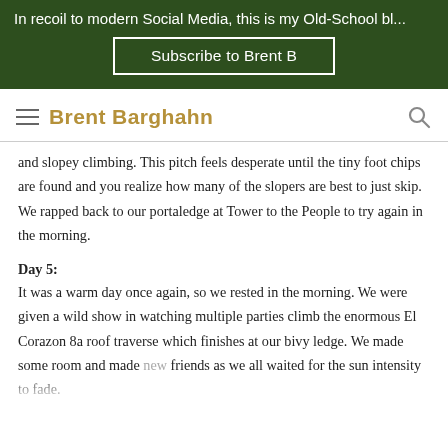In recoil to modern Social Media, this is my Old-School bl...
Subscribe to Brent B
Brent Barghahn
and slopey climbing. This pitch feels desperate until the tiny foot chips are found and you realize how many of the slopers are best to just skip. We rapped back to our portaledge at Tower to the People to try again in the morning.
Day 5:
It was a warm day once again, so we rested in the morning. We were given a wild show in watching multiple parties climb the enormous El Corazon 8a roof traverse which finishes at our bivy ledge. We made some room and made new friends as we all waited for the sun intensity to fade.